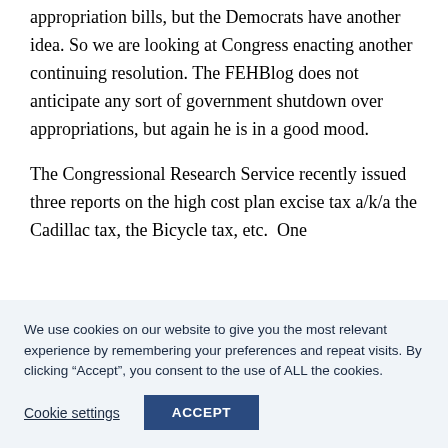appropriation bills, but the Democrats have another idea. So we are looking at Congress enacting another continuing resolution. The FEHBlog does not anticipate any sort of government shutdown over appropriations, but again he is in a good mood.
The Congressional Research Service recently issued three reports on the high cost plan excise tax a/k/a the Cadillac tax, the Bicycle tax, etc. One
We use cookies on our website to give you the most relevant experience by remembering your preferences and repeat visits. By clicking “Accept”, you consent to the use of ALL the cookies.
Cookie settings
ACCEPT